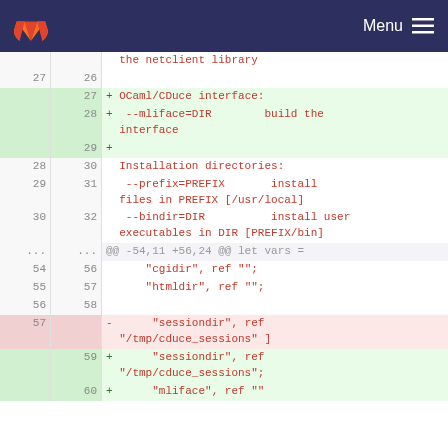GitLab — Menu
| old | new | code |
| --- | --- | --- |
|  |  | the netclient library |
| 27 | 26 |  |
|  | 27 | + OCaml/CDuce interface: |
|  | 28 | +  --mliface=DIR        build the interface |
|  | 29 | + |
| 28 | 30 | Installation directories: |
| 29 | 31 |  --prefix=PREFIX       install files in PREFIX [/usr/local] |
| 30 | 32 |  --bindir=DIR          install user executables in DIR [PREFIX/bin] |
| ... | ... | @@ -54,11 +56,24 @@ let vars = |
| 54 | 56 |     "cgidir", ref ""; |
| 55 | 57 |     "htmldir", ref ""; |
| 56 | 58 |  |
| 57 |  | -    "sessiondir", ref "/tmp/cduce_sessions" ] |
|  | 59 | +    "sessiondir", ref "/tmp/cduce_sessions"; |
|  | 60 | +    "mliface", ref "" |